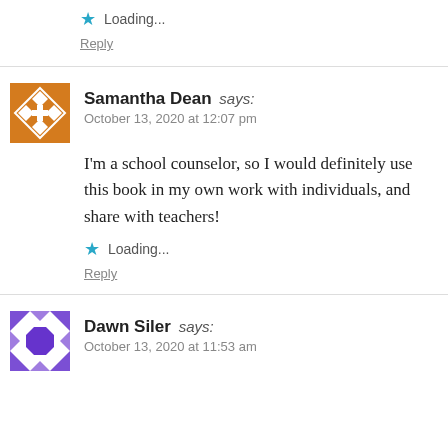★ Loading...
Reply
Samantha Dean says:
October 13, 2020 at 12:07 pm
I'm a school counselor, so I would definitely use this book in my own work with individuals, and share with teachers!
★ Loading...
Reply
Dawn Siler says:
October 13, 2020 at 11:53 am